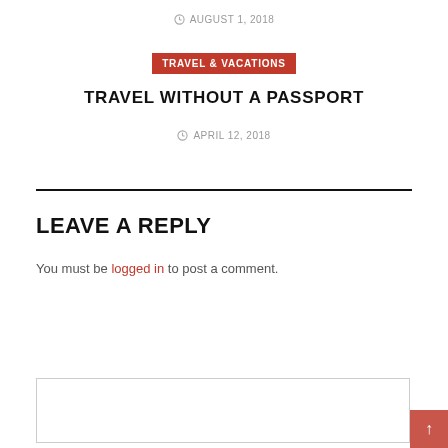AUGUST 1, 2018
TRAVEL & VACATIONS
TRAVEL WITHOUT A PASSPORT
APRIL 12, 2018
LEAVE A REPLY
You must be logged in to post a comment.